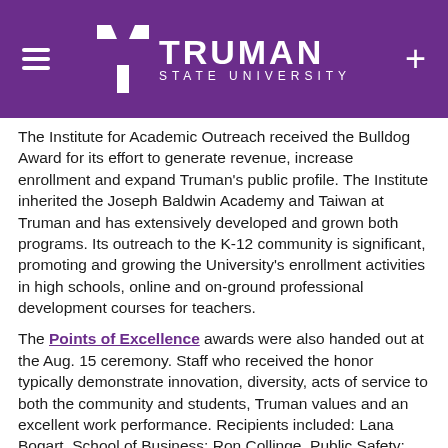[Figure (logo): Truman State University logo on purple background with hamburger menu icon on left and plus icon on right]
The Institute for Academic Outreach received the Bulldog Award for its effort to generate revenue, increase enrollment and expand Truman's public profile. The Institute inherited the Joseph Baldwin Academy and Taiwan at Truman and has extensively developed and grown both programs. Its outreach to the K-12 community is significant, promoting and growing the University's enrollment activities in high schools, online and on-ground professional development courses for teachers.
The Points of Excellence awards were also handed out at the Aug. 15 ceremony. Staff who received the honor typically demonstrate innovation, diversity, acts of service to both the community and students, Truman values and an excellent work performance. Recipients included: Lana Bogart, School of Business; Ron Collinge, Public Safety; Janes Dreamweaver, Student Recreation Center; Beth Oberman, Information Technology Services; Joyce Schmitz and Modern Languages and Brad Turnball, Multicultural Af
Lastly, The Mark and Robin Gambaiana Purple Pride Award was